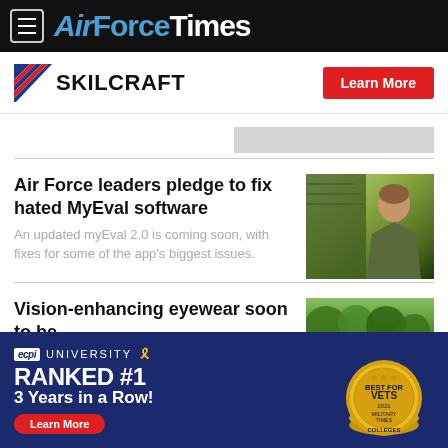AirForceTimes
[Figure (logo): SKILCRAFT logo with diagonal flag stripes and Learn More red button advertisement banner]
[Figure (other): Gray placeholder advertisement rectangle]
Air Force leaders pledge to fix hated MyEval software
An updated myEval 2.0 is coming soon, with fixes for some of the app’s biggest issues.
[Figure (photo): Military woman in camouflage uniform speaking at a podium or event, greenish background]
Vision-enhancing eyewear soon to be
[Figure (photo): Outdoor scene with green trees and foliage]
[Figure (infographic): ECPI University advertisement: Ranked #1 3 Years in a Row! Best for Vets 2021 Military Times Colleges. Learn More button. Gold coin badge stack on right.]